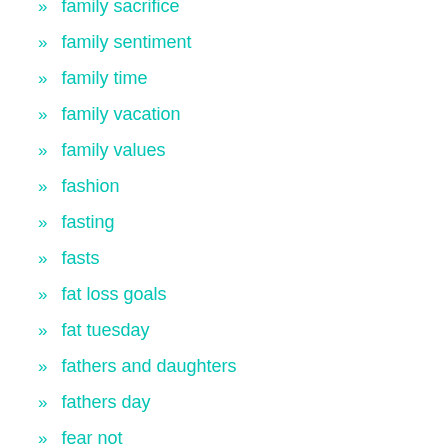family sacrifice
family sentiment
family time
family vacation
family values
fashion
fasting
fasts
fat loss goals
fat tuesday
fathers and daughters
fathers day
fear not
feast
Feast Day
feedback